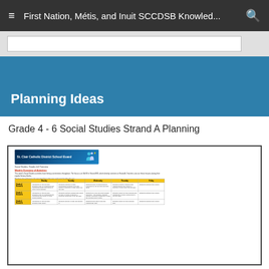First Nation, Métis, and Inuit SCCDSB Knowled...
Planning Ideas
Grade 4 - 6 Social Studies Strand A Planning
[Figure (screenshot): Screenshot of a planning document for Grade 4-6 Social Studies Strand A from St. Clair Catholic District School Board, showing a weekly overview of activities table with rows for different grade levels and columns for Monday through Friday.]